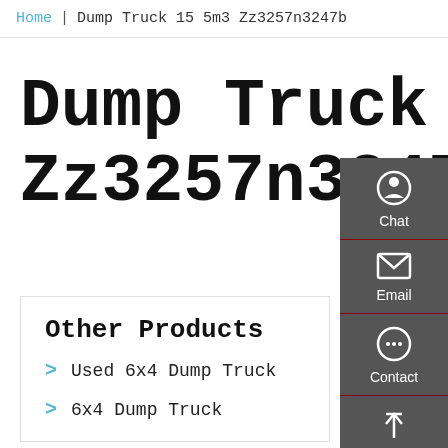Home | Dump Truck 15 5m3 Zz3257n3247b
Dump Truck 15 5m3 Zz3257n3247b
Other Products
> Used 6x4 Dump Truck
> 6x4 Dump Truck